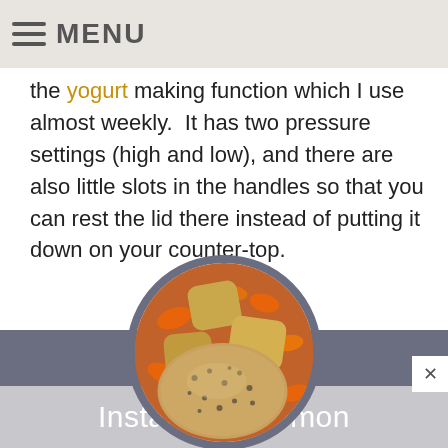MENU
the yogurt making function which I use almost weekly.  It has two pressure settings (high and low), and there are also little slots in the handles so that you can rest the lid there instead of putting it down on your counter-top.
[Figure (photo): Circular food photo showing roasted chicken with carrots and potatoes, set against a slate-blue rectangular background banner]
Instant Pot Lemon